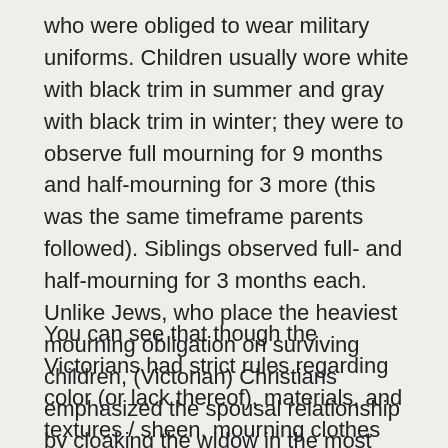who were obliged to wear military uniforms. Children usually wore white with black trim in summer and gray with black trim in winter; they were to observe full mourning for 9 months and half-mourning for 3 more (this was the same timeframe parents followed). Siblings observed full- and half-mourning for 3 months each. Unlike Jews, who place the heaviest mourning obligation on surviving children, (Victorian) Christians emphasized the spousal relationship by cloaking the widow in the most elaborate costume and for the longest period of time, that was synced with her ultimate marital / sexual availability.
You can see that though the Victorians had strict rules regarding color (or lack thereof), materials, and textures / sheen, mourning clothes were still expected to be fashionable and decorative, a major departure from the Jewish tradition. Some of the differences may be related